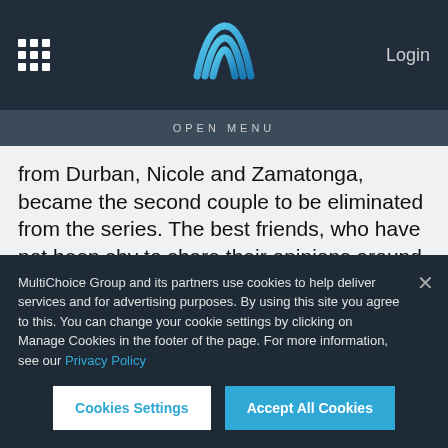[Figure (screenshot): Navigation bar with grid icon, MultiChoice logo (blue M), and Login text on dark background]
OPEN MENU
from Durban, Nicole and Zamatonga, became the second couple to be eliminated from the series. The best friends, who have not been shy to share their opinions around the previous Instant Restaurant tables of their competitors unfortunately missed the mark right from the start of their evening. The food, was unfortunately
MultiChoice Group and its partners use cookies to help deliver services and for advertising purposes. By using this site you agree to this. You can change your cookie settings by clicking on Manage Cookies in the footer of the page. For more information, see our Privacy Policy
Cookies Settings
Accept All Cookies